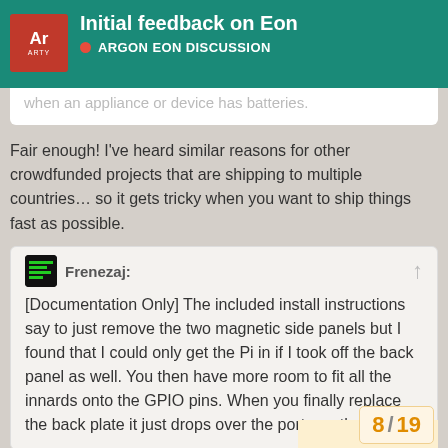Initial feedback on Eon — ARGON EON DISCUSSION
when an appliance or device has batteries.
Fair enough! I've heard similar reasons for other crowdfunded projects that are shipping to multiple countries… so it gets tricky when you want to ship things fast as possible.
Frenezaj:
[Documentation Only] The included install instructions say to just remove the two magnetic side panels but I found that I could only get the Pi in if I took off the back panel as well. You then have more room to fit all the innards onto the GPIO pins. When you finally replace the back plate it just drops over the ports on the Pi.
For me, sticking a post-it (or ga…
8 / 19